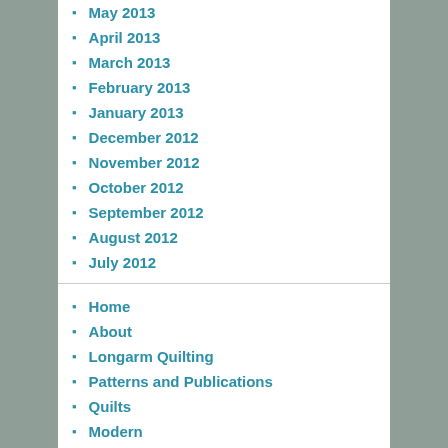May 2013
April 2013
March 2013
February 2013
January 2013
December 2012
November 2012
October 2012
September 2012
August 2012
July 2012
Home
About
Longarm Quilting
Patterns and Publications
Quilts
Modern
Paper Piecing
Events
Holidays